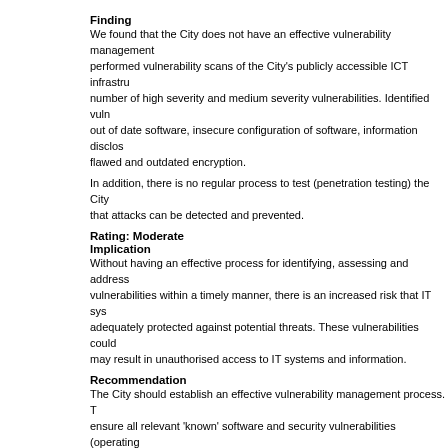Finding
We found that the City does not have an effective vulnerability management performed vulnerability scans of the City's publicly accessible ICT infrastructure number of high severity and medium severity vulnerabilities. Identified vulnerabilities out of date software, insecure configuration of software, information disclosure flawed and outdated encryption.
In addition, there is no regular process to test (penetration testing) the City that attacks can be detected and prevented.
Rating: Moderate
Implication
Without having an effective process for identifying, assessing and addressing vulnerabilities within a timely manner, there is an increased risk that IT systems are adequately protected against potential threats. These vulnerabilities could may result in unauthorised access to IT systems and information.
Recommendation
The City should establish an effective vulnerability management process. ensure all relevant 'known' software and security vulnerabilities (operating application) are identified. These vulnerabilities, along with the actions and patches) required to address them, should be appropriately assessed and successful testing, the relevant actions and updates should then be applied within a timely manner.
The City should also regularly perform penetration tests to assess the security cyber security controls.
Management Comment:
The City has processes in place for patching software, servers and ICT infrastructure. applications and hardware have known vulnerabilities but cannot be addressed, unsupported software still being required for operational purposes. These replacement where possible, but this risk should be noted in the risk register.